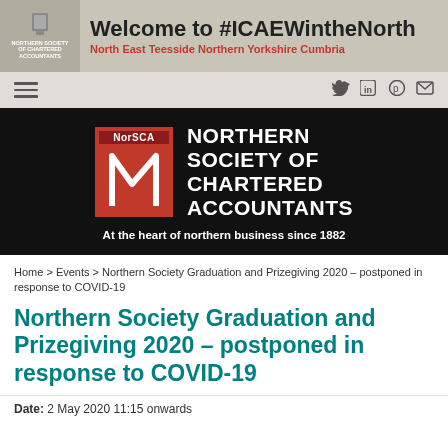[Figure (logo): Northern Society of Chartered Accountants banner: Welcome to #ICAEWintheNorth — North East Teesside Northern Yorkshire Cumbria]
[Figure (logo): NorSCA — Northern Society of Chartered Accountants logo on black background with tagline: At the heart of northern business since 1882]
Home > Events > Northern Society Graduation and Prizegiving 2020 – postponed in response to COVID-19
Northern Society Graduation and Prizegiving 2020 – postponed in response to COVID-19
Date: 2 May 2020 11:15 onwards